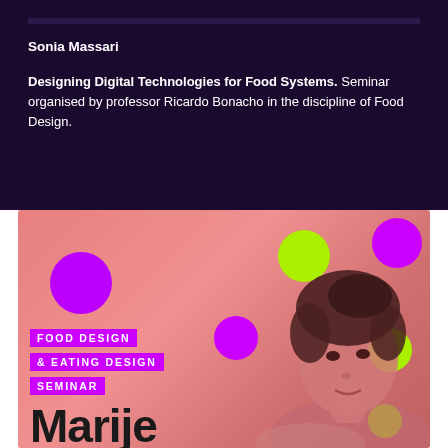Sonia Massari
Designing Digital Technologies for Food Systems. Seminar organised by professor Ricardo Bonacho in the discipline of Food Design.
[Figure (illustration): Event poster for Food Design & Eating Design Seminar featuring Marije Vorel. Pink/salmon toned background with colorful purple and lime green circles decorating the poster. Text shows 'FOOD DESIGN & EATING DESIGN SEMINAR' in purple label boxes, and large bold text 'Marije' with a photo of a woman with dark hair.]